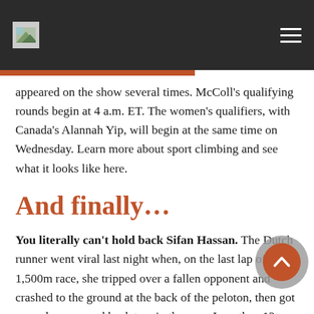appeared on the show several times. McColl's qualifying rounds begin at 4 a.m. ET. The women's qualifiers, with Canada's Alannah Yip, will begin at the same time on Wednesday. Learn more about sport climbing and see what it looks like here.
And finally…
You literally can't hold back Sifan Hassan. The Dutch runner went viral last night when, on the last lap of her 1,500m race, she tripped over a fallen opponent and crashed to the ground at the back of the peloton, then got up and was roared back to win the race. Less than 12